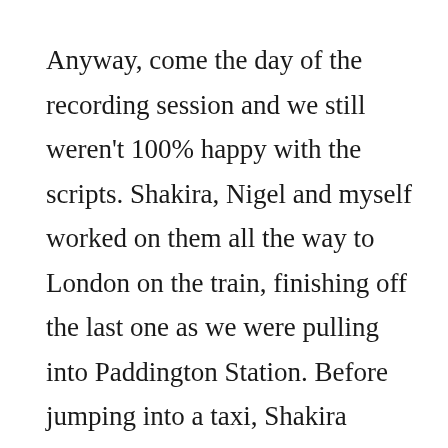Anyway, come the day of the recording session and we still weren't 100% happy with the scripts. Shakira, Nigel and myself worked on them all the way to London on the train, finishing off the last one as we were pulling into Paddington Station. Before jumping into a taxi, Shakira emailed them on to the studio to be printed out in time for our session.

We arrived and took a seat in reception. At 1pm, right on schedule, Joanna Lumley